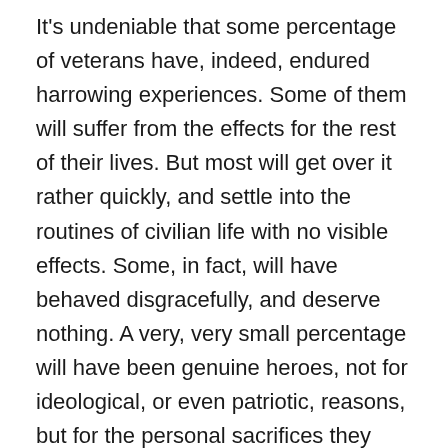It's undeniable that some percentage of veterans have, indeed, endured harrowing experiences. Some of them will suffer from the effects for the rest of their lives. But most will get over it rather quickly, and settle into the routines of civilian life with no visible effects. Some, in fact, will have behaved disgracefully, and deserve nothing. A very, very small percentage will have been genuine heroes, not for ideological, or even patriotic, reasons, but for the personal sacrifices they made in circumstances all but incomprehensible to the rest of us, and I include the majority of veterans.

It's for this tiny group that I object to the indiscriminate expression of gratitude to everyone who has had any military service. And I guarantee that you will never hear any of these people trumpeting their military experience, or even talking about it. There's a meme that makes the